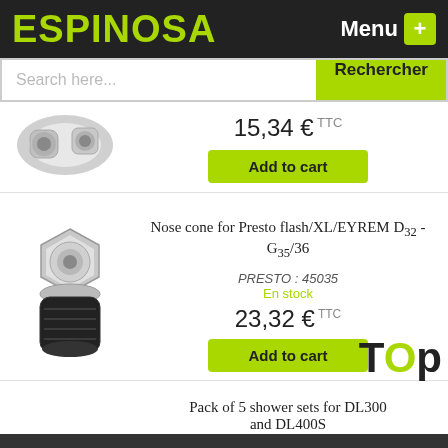ESPINOSA
Menu +
Search here... Rechercher
15,34 € TTC
Add to cart
[Figure (photo): Chrome plumbing fitting connector]
Nose cone for Presto flash/XL/EYREM D32 - G35/36
PRESTO : 45035
En stock
23,32 € TTC
Add to cart
[Figure (photo): Chrome nose cone fitting with black base]
Top
Pack of 5 shower sets for DL300 and DL400S